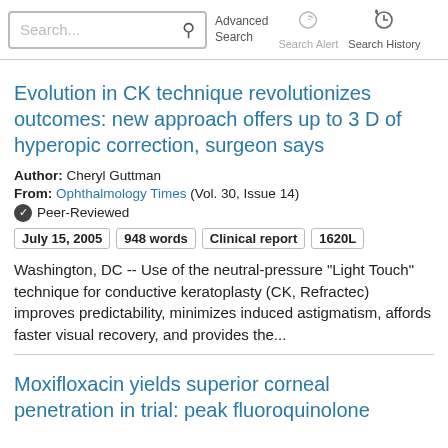Search... Advanced Search Search Alert Search History
Evolution in CK technique revolutionizes outcomes: new approach offers up to 3 D of hyperopic correction, surgeon says
Author: Cheryl Guttman
From: Ophthalmology Times (Vol. 30, Issue 14)
✔ Peer-Reviewed
July 15, 2005  948 words  Clinical report  1620L
Washington, DC -- Use of the neutral-pressure "Light Touch" technique for conductive keratoplasty (CK, Refractec) improves predictability, minimizes induced astigmatism, affords faster visual recovery, and provides the...
Moxifloxacin yields superior corneal penetration in trial: peak fluoroquinolone